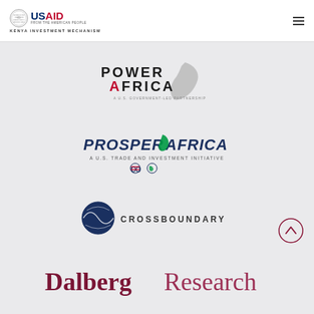[Figure (logo): USAID from the American People - Kenya Investment Mechanism logo in page header]
[Figure (logo): Power Africa - A U.S. Government-Led Partnership logo with Africa continent silhouette]
[Figure (logo): Prosper Africa - A U.S. Trade and Investment Initiative logo with infinity symbol]
[Figure (logo): CrossBoundary logo with circular globe icon]
[Figure (logo): Dalberg Research logo in dark red serif font]